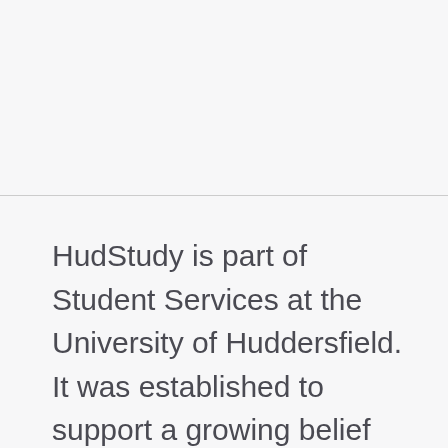HudStudy is part of Student Services at the University of Huddersfield. It was established to support a growing belief that assistive technology isn't just for students, but staff with